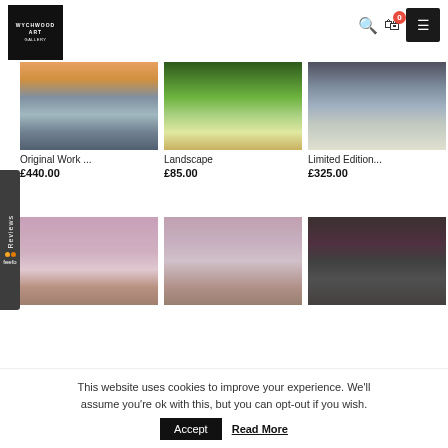[Figure (screenshot): Wychwood Art gallery website screenshot showing header with logo, product grid with art images, and cookie consent banner]
Original Work ...
£440.00
Landscape
£85.00
Limited Edition...
£325.00
This website uses cookies to improve your experience. We'll assume you're ok with this, but you can opt-out if you wish.
Accept  Read More